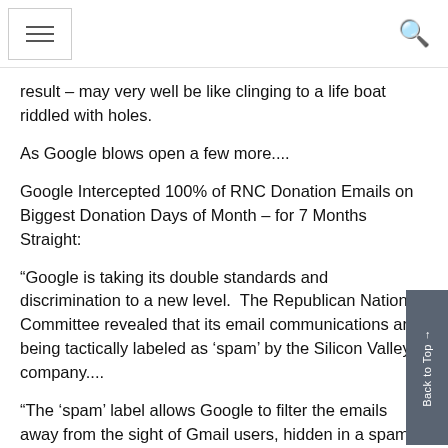result – may very well be like clinging to a life boat riddled with holes.
As Google blows open a few more....
Google Intercepted 100% of RNC Donation Emails on Biggest Donation Days of Month – for 7 Months Straight:
“Google is taking its double standards and discrimination to a new level.  The Republican National Committee revealed that its email communications are being tactically labeled as ‘spam’ by the Silicon Valley company....
“The ‘spam’ label allows Google to filter the emails away from the sight of Gmail users, hidden in a spam inbox.